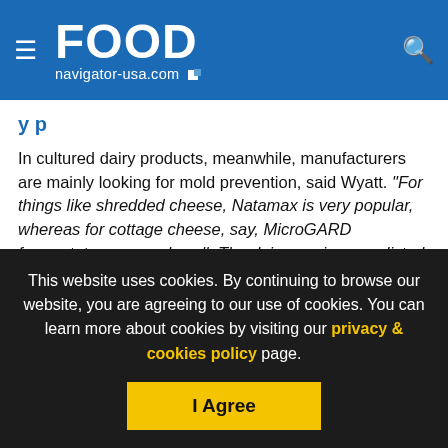FOOD navigator-usa.com
In cultured dairy products, meanwhile, manufacturers are mainly looking for mold prevention, said Wyatt. “For things like shredded cheese, Natamax is very popular, whereas for cottage cheese, say, MicroGARD fermentates can work well. The dairy versions are listed as ‘cultured skim milk’ on the label, so they look like they belong on a dairy label, which customers really like.”
For yogurts, he said, “you can use MicroGARD whole fraction
This website uses cookies. By continuing to browse our website, you are agreeing to our use of cookies. You can learn more about cookies by visiting our privacy & cookies policy page.
I Agree